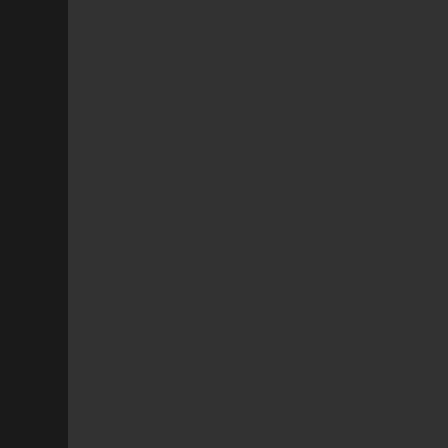from what they actually do, their presence works against them.
When I examine the phenomenon of the able to be completely objective? Hell ye the miners becomes a non-factor.
My objective analysis of the highsec mi deserve the disgust that people feel for
Now it's time to get to the heart of things the attacker's ship?
First of all, let's talk about the bots. High knows it. And nobody knows it better tha as thieves.
Allow me to make one thing perfectly cl distinction between the botters and thos
Whenever I tell a highsec miner this, I a surely if they ever saw one, they would